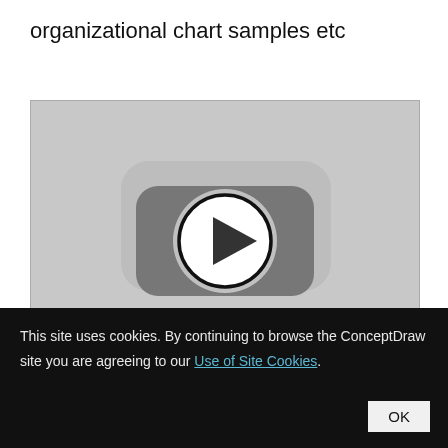organizational chart samples etc
[Figure (screenshot): Video thumbnail placeholder with a play button icon (circle with right-pointing triangle) centered on a grey YouTube-style video player background]
This site uses cookies. By continuing to browse the ConceptDraw site you are agreeing to our Use of Site Cookies.